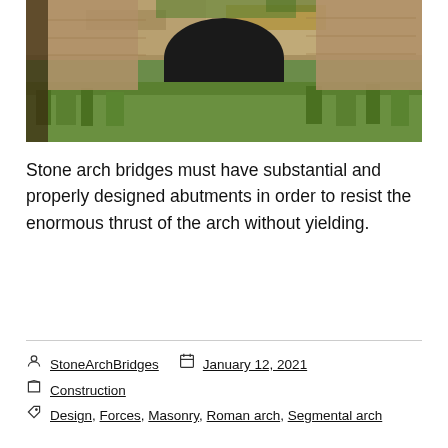[Figure (photo): Photograph of a stone arch bridge with a dark tunnel opening, surrounded by green grass and vegetation, with water visible below the arch.]
Stone arch bridges must have substantial and properly designed abutments in order to resist the enormous thrust of the arch without yielding.
StoneArchBridges  January 12, 2021  Construction  Design, Forces, Masonry, Roman arch, Segmental arch